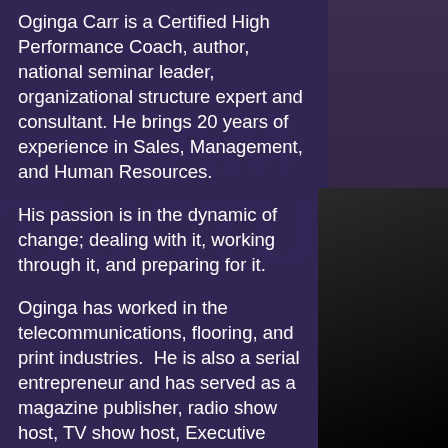Oginga Carr is a Certified High Performance Coach, author, national seminar leader, organizational structure expert and consultant. He brings 20 years of experience in Sales, Management, and Human Resources.
His passion is in the dynamic of change; dealing with it, working through it, and preparing for it.
Oginga has worked in the telecommunications, flooring, and print industries.  He is also a serial entrepreneur and has served as a magazine publisher, radio show host, TV show host, Executive Director of a non-profit foundation and many other capacities.
Oginga focuses on productivity through structure and human capital development. He has trained